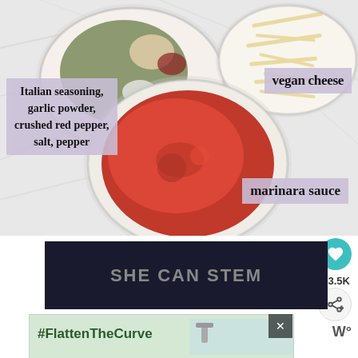[Figure (photo): Overhead shot on marble surface: bowls of Italian seasoning, garlic powder, crushed red pepper, salt and pepper; shredded vegan cheese; and marinara sauce in glass bowls, with ingredient label overlays]
vegan cheese
Italian seasoning, garlic powder, crushed red pepper, salt, pepper
marinara sauce
[Figure (other): SHE CAN STEM banner advertisement on dark background]
[Figure (other): #FlattenTheCurve advertisement showing faucet/handwashing image]